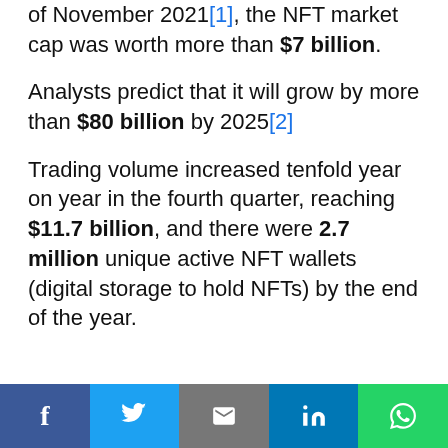of November 2021[1], the NFT market cap was worth more than $7 billion.
Analysts predict that it will grow by more than $80 billion by 2025[2]
Trading volume increased tenfold year on year in the fourth quarter, reaching $11.7 billion, and there were 2.7 million unique active NFT wallets (digital storage to hold NFTs) by the end of the year.
Share buttons: Facebook, Twitter, Email, LinkedIn, WhatsApp